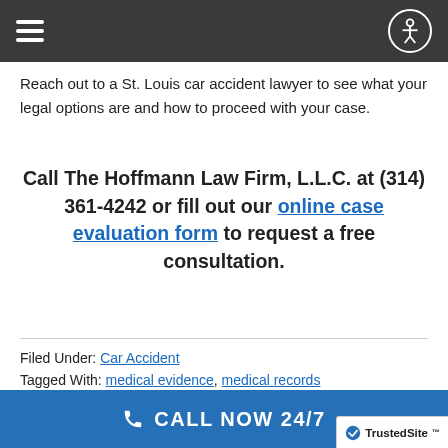Navigation bar with hamburger menu and accessibility icon
Reach out to a St. Louis car accident lawyer to see what your legal options are and how to proceed with your case.
Call The Hoffmann Law Firm, L.L.C. at (314) 361-4242 or fill out our online case evaluation form to request a free consultation.
Filed Under: Car Accident
Tagged With: medical evidence, medical records
CALL NOW 24/7